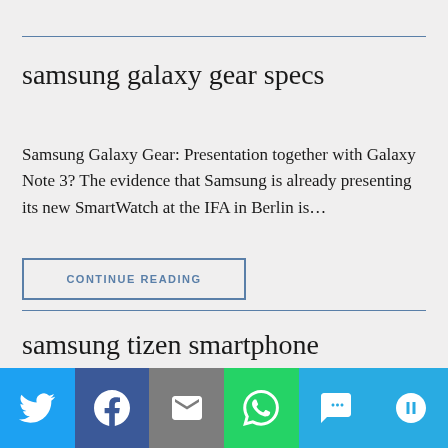samsung galaxy gear specs
Samsung Galaxy Gear: Presentation together with Galaxy Note 3? The evidence that Samsung is already presenting its new SmartWatch at the IFA in Berlin is…
CONTINUE READING
samsung tizen smartphone
Tizen OS: First mobile phone with Tizen even before
[Figure (infographic): Social sharing bar with Twitter, Facebook, Email, WhatsApp, SMS, and More buttons]